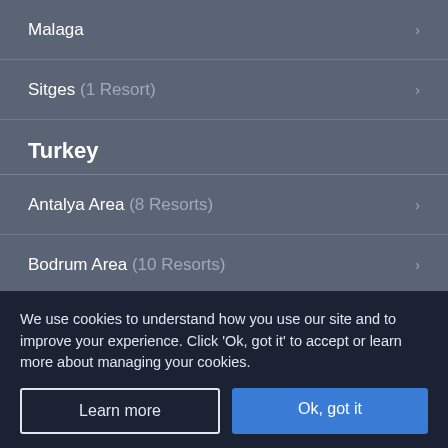Malaga
Sitges (1 Resort)
Turkey
Antalya Area (8 Resorts)
Bodrum Area (10 Resorts)
Dalaman Area (13 Resorts)
Izmir Area (2 Resorts)
We use cookies to understand how you use our site and to improve your experience. Click 'Ok, got it' to accept or learn more about managing your cookies.
Learn more
Ok, got it